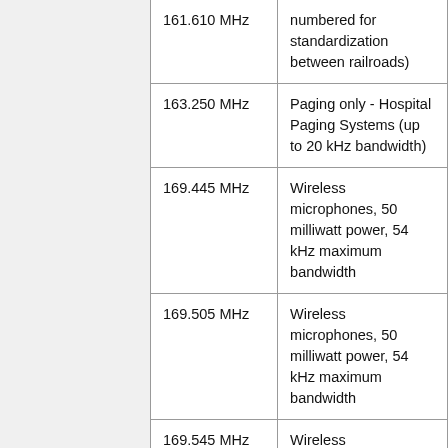| Frequency | Description |
| --- | --- |
| 161.610 MHz | numbered for standardization between railroads) |
| 163.250 MHz | Paging only - Hospital Paging Systems (up to 20 kHz bandwidth) |
| 169.445 MHz | Wireless microphones, 50 milliwatt power, 54 kHz maximum bandwidth |
| 169.505 MHz | Wireless microphones, 50 milliwatt power, 54 kHz maximum bandwidth |
| 169.545 MHz | Wireless microphones, 50 milliwatt power, 54 kHz maximum bandwidth |
| 169.575 MHz | Wireless microphones, 50 milliwatt power, 200 kHz maximum bandwidth |
| 169.605 MHz | Wireless microphones, 50 milliwatt power, 54 kHz maximum bandwidth |
|  | Wireless microphones, 50 |